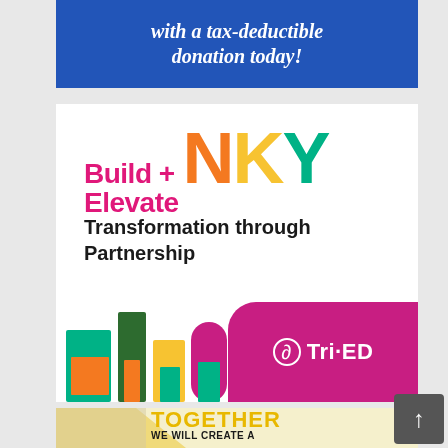[Figure (illustration): Blue banner with white italic bold serif text reading 'with a tax-deductible donation today!']
[Figure (logo): Build + Elevate NKY logo: 'Build + Elevate' in hot pink bold sans-serif, 'NKY' in large letters with N=orange, K=yellow, Y=teal/green. Below: 'Transformation through Partnership' in bold black. Bottom section has colorful building block graphics and a magenta badge with Tri-ED logo in white.]
[Figure (illustration): Together We Will Create A Brighter Future advertisement banner showing partial text in gold/yellow and black bold letters, with a person visible on the left side against a yellow diagonal stripe background.]